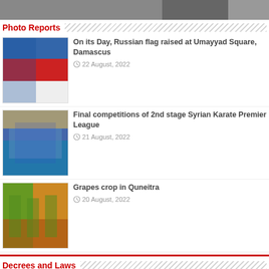[Figure (photo): Top cropped photo showing partial figures, dark background]
Photo Reports
[Figure (photo): Russian flag being waved at Umayyad Square, Damascus]
On its Day, Russian flag raised at Umayyad Square, Damascus
22 August, 2022
[Figure (photo): Karate competition stadium with athletes]
Final competitions of 2nd stage Syrian Karate Premier League
21 August, 2022
[Figure (photo): Grape vines with colorful leaves in Quneitra]
Grapes crop in Quneitra
20 August, 2022
Decrees and Laws
[Figure (photo): Syrian eagle emblem on dark red background]
Presidential decree grants 100 thousand SYP to the State's employees and the retired